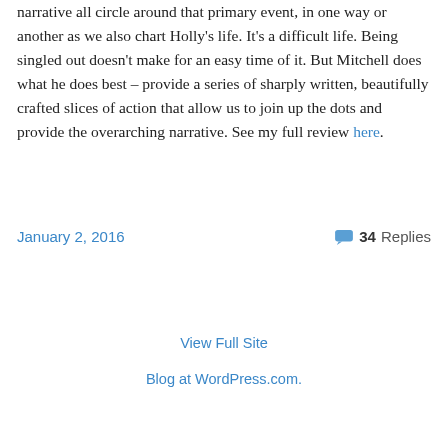narrative all circle around that primary event, in one way or another as we also chart Holly's life. It's a difficult life. Being singled out doesn't make for an easy time of it. But Mitchell does what he does best – provide a series of sharply written, beautifully crafted slices of action that allow us to join up the dots and provide the overarching narrative. See my full review here.
January 2, 2016  💬 34 Replies
View Full Site
Blog at WordPress.com.